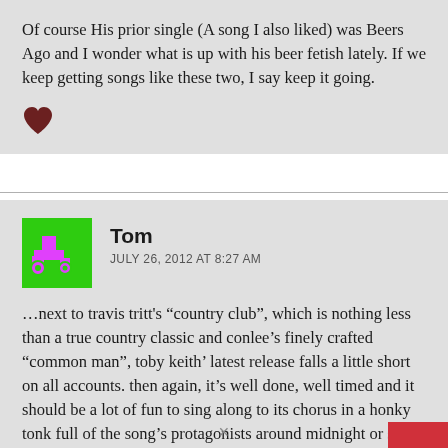Of course His prior single (A song I also liked) was Beers Ago and I wonder what is up with his beer fetish lately. If we keep getting songs like these two, I say keep it going.
[Figure (illustration): Dark red/brown heart icon]
[Figure (illustration): Green square avatar with pink pixel art tractor/vehicle design for user Tom]
Tom
JULY 26, 2012 AT 8:27 AM
…next to travis tritt's “country club”, which is nothing less than a true country classic and conlee’s finely crafted “common man”, toby keith’ latest release falls a little short on all accounts. then again, it’s well done, well timed and it should be a lot of fun to sing along to its chorus in a honky tonk full of the song’s protagonists around midnight or so. thats what a i